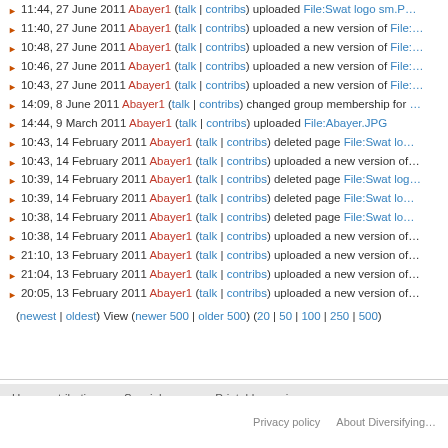11:44, 27 June 2011 Abayer1 (talk | contribs) uploaded File:Swat logo sm.P…
11:40, 27 June 2011 Abayer1 (talk | contribs) uploaded a new version of File:…
10:48, 27 June 2011 Abayer1 (talk | contribs) uploaded a new version of File:…
10:46, 27 June 2011 Abayer1 (talk | contribs) uploaded a new version of File:…
10:43, 27 June 2011 Abayer1 (talk | contribs) uploaded a new version of File:…
14:09, 8 June 2011 Abayer1 (talk | contribs) changed group membership for …
14:44, 9 March 2011 Abayer1 (talk | contribs) uploaded File:Abayer.JPG
10:43, 14 February 2011 Abayer1 (talk | contribs) deleted page File:Swat log…
10:43, 14 February 2011 Abayer1 (talk | contribs) uploaded a new version of…
10:39, 14 February 2011 Abayer1 (talk | contribs) deleted page File:Swat log…
10:39, 14 February 2011 Abayer1 (talk | contribs) deleted page File:Swat lo…
10:38, 14 February 2011 Abayer1 (talk | contribs) deleted page File:Swat lo…
10:38, 14 February 2011 Abayer1 (talk | contribs) uploaded a new version of…
21:10, 13 February 2011 Abayer1 (talk | contribs) uploaded a new version of…
21:04, 13 February 2011 Abayer1 (talk | contribs) uploaded a new version of…
20:05, 13 February 2011 Abayer1 (talk | contribs) uploaded a new version of…
(newest | oldest) View (newer 500 | older 500) (20 | 50 | 100 | 250 | 500)
User contributions   Special pages   Printable version
Privacy policy   About Diversifying…